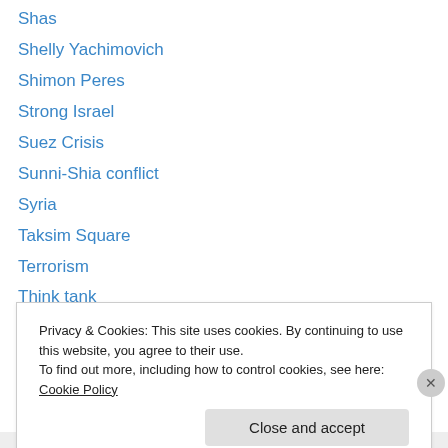Shas
Shelly Yachimovich
Shimon Peres
Strong Israel
Suez Crisis
Sunni-Shia conflict
Syria
Taksim Square
Terrorism
Think tank
Trajtenberg Committe
Tunisia
Turgut Ozal
Privacy & Cookies: This site uses cookies. By continuing to use this website, you agree to their use. To find out more, including how to control cookies, see here: Cookie Policy
Close and accept